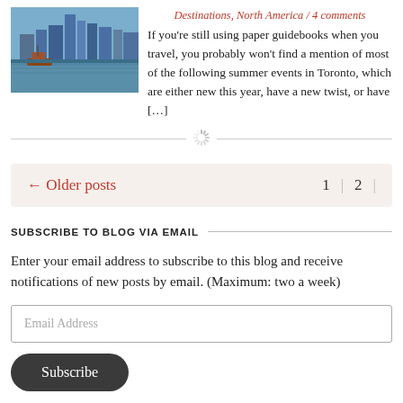[Figure (photo): City waterfront with buildings and a boat on the water]
Destinations, North America / 4 comments
If you're still using paper guidebooks when you travel, you probably won't find a mention of most of the following summer events in Toronto, which are either new this year, have a new twist, or have [...]
← Older posts   1   2
SUBSCRIBE TO BLOG VIA EMAIL
Enter your email address to subscribe to this blog and receive notifications of new posts by email. (Maximum: two a week)
Email Address
Subscribe